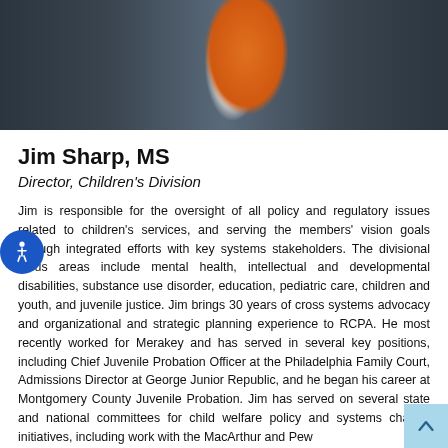[Figure (photo): Portrait photo of Jim Sharp in a dark suit with an orange tie, cropped to show upper body only]
Jim Sharp, MS
Director, Children's Division
Jim is responsible for the oversight of all policy and regulatory issues related to children's services, and serving the members' vision goals through integrated efforts with key systems stakeholders. The divisional focus areas include mental health, intellectual and developmental disabilities, substance use disorder, education, pediatric care, children and youth, and juvenile justice. Jim brings 30 years of cross systems advocacy and organizational and strategic planning experience to RCPA. He most recently worked for Merakey and has served in several key positions, including Chief Juvenile Probation Officer at the Philadelphia Family Court, Admissions Director at George Junior Republic, and he began his career at Montgomery County Juvenile Probation. Jim has served on several state and national committees for child welfare policy and systems change initiatives, including work with the MacArthur and Pew